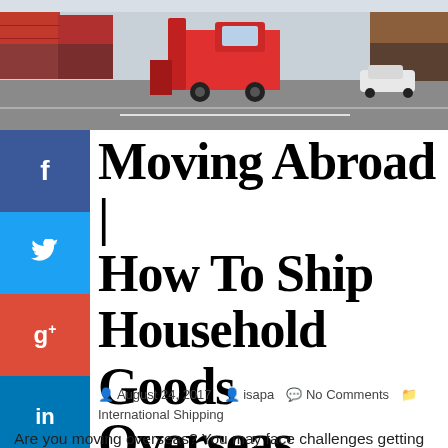[Figure (photo): A shipping yard scene with a large red forklift/reach stacker among shipping containers, with cars visible in the background on a sunny day.]
Moving Abroad | How To Ship Household Goods Overseas
August 24, 2017   isapa   No Comments
International Shipping
Are you moving overseas? You may face challenges getting